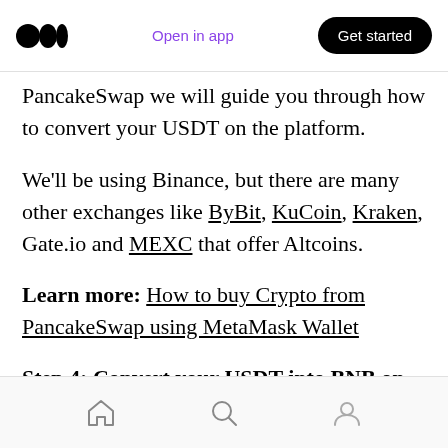Open in app | Get started
PancakeSwap we will guide you through how to convert your USDT on the platform.
We'll be using Binance, but there are many other exchanges like ByBit, KuCoin, Kraken, Gate.io and MEXC that offer Altcoins.
Learn more: How to buy Crypto from PancakeSwap using MetaMask Wallet
Step 4: Convert your USDT into BNB on Binance
Now head over to Binance.com and create an account there. It's a super easy process that
Home | Search | Profile